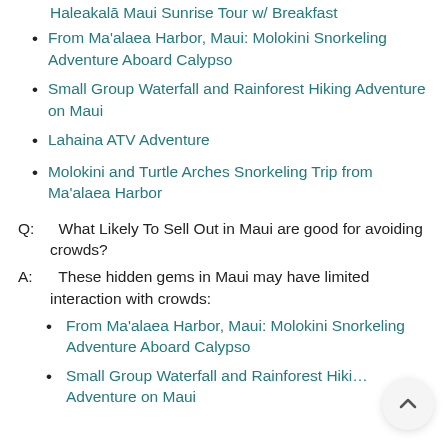From Ma'alaea Harbor, Maui: Molokini Snorkeling Adventure Aboard Calypso
Small Group Waterfall and Rainforest Hiking Adventure on Maui
Lahaina ATV Adventure
Molokini and Turtle Arches Snorkeling Trip from Ma'alaea Harbor
Q:  What Likely To Sell Out in Maui are good for avoiding crowds?
A:  These hidden gems in Maui may have limited interaction with crowds:
From Ma'alaea Harbor, Maui: Molokini Snorkeling Adventure Aboard Calypso
Small Group Waterfall and Rainforest Hiking Adventure on Maui